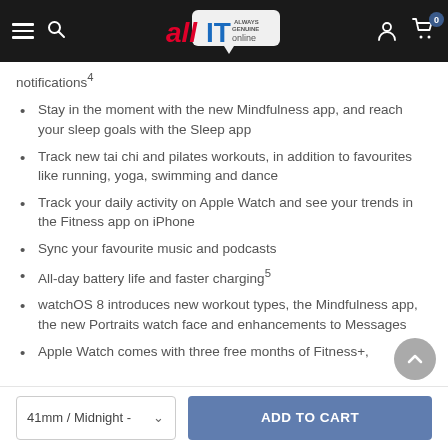allIT online navigation bar
notifications⁴
Stay in the moment with the new Mindfulness app, and reach your sleep goals with the Sleep app
Track new tai chi and pilates workouts, in addition to favourites like running, yoga, swimming and dance
Track your daily activity on Apple Watch and see your trends in the Fitness app on iPhone
Sync your favourite music and podcasts
All-day battery life and faster charging⁵
watchOS 8 introduces new workout types, the Mindfulness app, the new Portraits watch face and enhancements to Messages
Apple Watch comes with three free months of Fitness+,